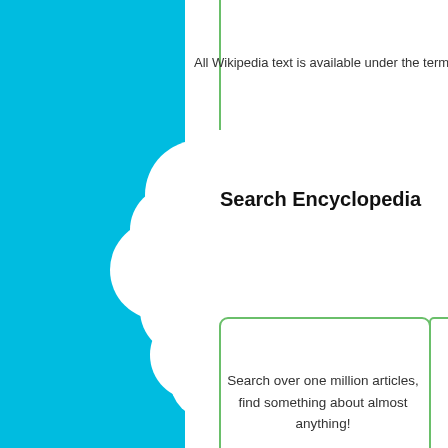All Wikipedia text is available under the terms of th
Search Encyclopedia
Search over one million articles, find something about almost anything!